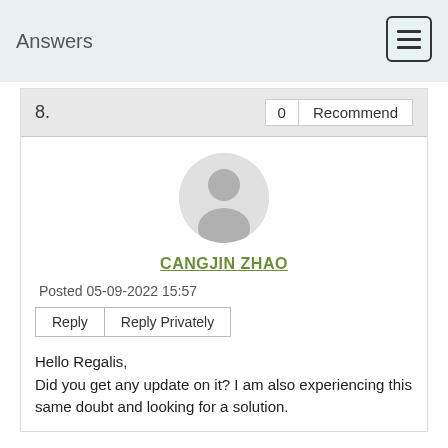Answers
8.
0   Recommend
[Figure (illustration): Default user avatar silhouette in a circle, grey background]
CANGJIN ZHAO
Posted 05-09-2022 15:57
Reply   Reply Privately
Hello Regalis,
Did you get any update on it? I am also experiencing this same doubt and looking for a solution.